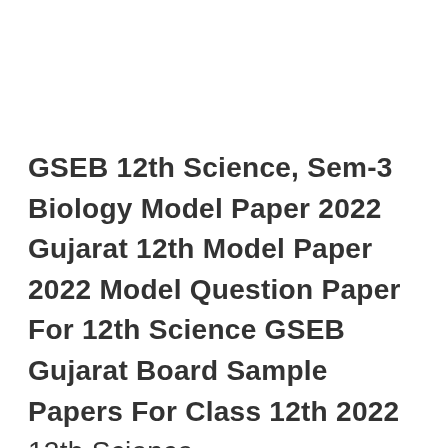GSEB 12th Science, Sem-3 Biology Model Paper 2022 Gujarat 12th Model Paper 2022 Model Question Paper For 12th Science GSEB Gujarat Board Sample Papers For Class 12th 2022 12th Science